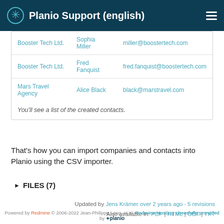Planio Support (english)
| Booster Tech Ltd. | Sophia Miller | miller@boostertech.com |
| Booster Tech Ltd. | Fred Fanquist | fred.fanquist@boostertech.com |
| Mars Travel Agency | Alice Black | black@marstravel.com |
You'll see a list of the created contacts.
That's how you can import companies and contacts into Planio using the CSV importer.
FILES (7)
Updated by Jens Krämer over 2 years ago · 5 revisions
Also available in: PDF | HTML | ODT | TXT
Powered by Redmine © 2006-2022 Jean-Philippe Lang, et al. Redmine Hosting cheerfully provided by planio.